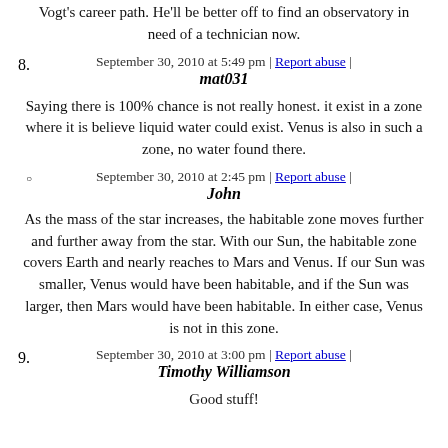Vogt's career path. He'll be better off to find an observatory in need of a technician now.
September 30, 2010 at 5:49 pm | Report abuse |
mat031
Saying there is 100% chance is not really honest. it exist in a zone where it is believe liquid water could exist. Venus is also in such a zone, no water found there.
September 30, 2010 at 2:45 pm | Report abuse |
John
As the mass of the star increases, the habitable zone moves further and further away from the star. With our Sun, the habitable zone covers Earth and nearly reaches to Mars and Venus. If our Sun was smaller, Venus would have been habitable, and if the Sun was larger, then Mars would have been habitable. In either case, Venus is not in this zone.
September 30, 2010 at 3:00 pm | Report abuse |
Timothy Williamson
Good stuff!